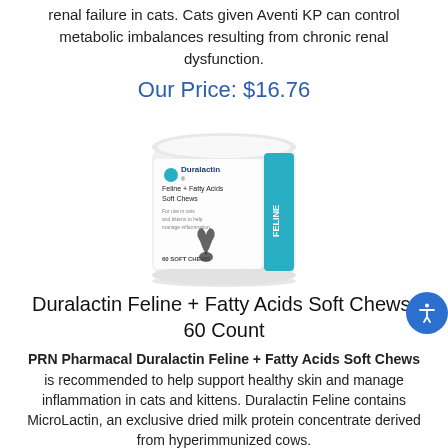renal failure in cats. Cats given Aventi KP can control metabolic imbalances resulting from chronic renal dysfunction.
Our Price: $16.76
[Figure (photo): Product photo of Duralactin Feline + Fatty Acids Soft Chews container, a white cylindrical tub with blue label featuring a cat silhouette and teal stripe on the right side reading FELINE. Label text: Duralactin, Feline + Fatty Acids Soft Chews, 60 SOFT CHEWS.]
Duralactin Feline + Fatty Acids Soft Chews, 60 Count
PRN Pharmacal Duralactin Feline + Fatty Acids Soft Chews is recommended to help support healthy skin and manage inflammation in cats and kittens. Duralactin Feline contains MicroLactin, an exclusive dried milk protein concentrate derived from hyperimmunized cows.